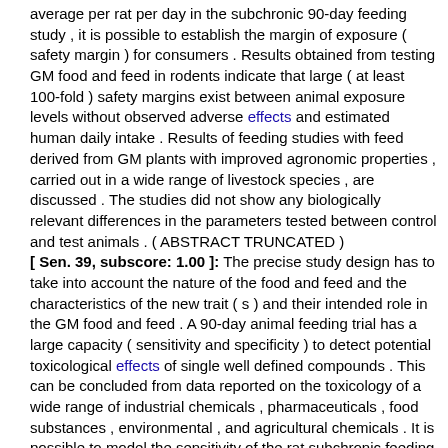average per rat per day in the subchronic 90-day feeding study , it is possible to establish the margin of exposure ( safety margin ) for consumers . Results obtained from testing GM food and feed in rodents indicate that large ( at least 100-fold ) safety margins exist between animal exposure levels without observed adverse effects and estimated human daily intake . Results of feeding studies with feed derived from GM plants with improved agronomic properties , carried out in a wide range of livestock species , are discussed . The studies did not show any biologically relevant differences in the parameters tested between control and test animals . ( ABSTRACT TRUNCATED ) [ Sen. 39, subscore: 1.00 ]: The precise study design has to take into account the nature of the food and feed and the characteristics of the new trait ( s ) and their intended role in the GM food and feed . A 90-day animal feeding trial has a large capacity ( sensitivity and specificity ) to detect potential toxicological effects of single well defined compounds . This can be concluded from data reported on the toxicology of a wide range of industrial chemicals , pharmaceuticals , food substances , environmental , and agricultural chemicals . It is possible to model the sensitivity of the rat subchronic feeding study for the detection of hypothetically increased amount of compounds such as anti-nutrients , toxicants or secondary metabolites . With respect to the detection of potential unintended effects in whole GM food and feed , it is unlikely that substances present in small amounts and with a low toxic potential will result in any observable ( unintended ) effects in a 90-day rodent feeding study , as they would be below the no-observed-effect-level and thus of unlikely impact to human health at normal intake levels . Laboratory animal feeding studies of 90-days duration appear to be sufficient to pick up adverse effects of diverse compounds that would also give adverse effects after chronic exposure . This conclusion is based on literature data from studies investigating whether toxicological